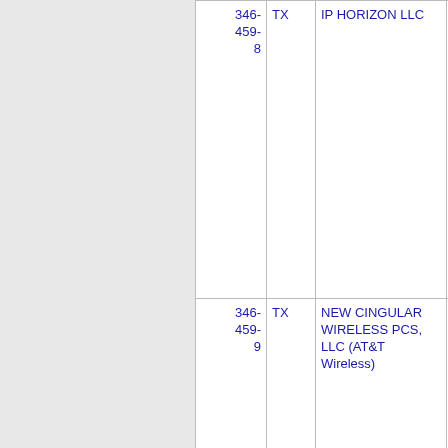| Number | State | Name | ... |
| --- | --- | --- | --- |
| 346-459-8 | TX | IP HORIZON LLC | 5... |
| 346-459-9 | TX | NEW CINGULAR WIRELESS PCS, LLC (AT&T Wireless) | 6... |